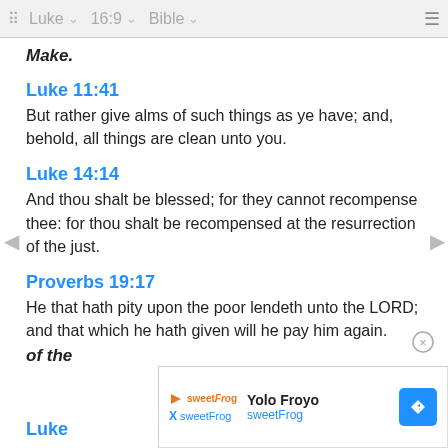Luke  16:9  Bible
Make.
Luke 11:41
But rather give alms of such things as ye have; and, behold, all things are clean unto you.
Luke 14:14
And thou shalt be blessed; for they cannot recompense thee: for thou shalt be recompensed at the resurrection of the just.
Proverbs 19:17
He that hath pity upon the poor lendeth unto the LORD; and that which he hath given will he pay him again.
of the
Luke
[Figure (screenshot): Ad overlay showing Yolo Froyo / sweetFrog with blue diamond arrow icon]